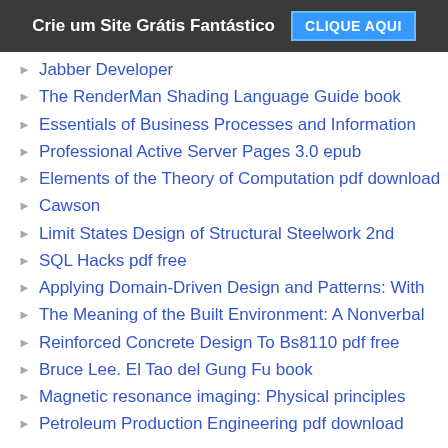Crie um Site Grátis Fantástico  CLIQUE AQUI
Jabber Developer
The RenderMan Shading Language Guide book
Essentials of Business Processes and Information
Professional Active Server Pages 3.0 epub
Elements of the Theory of Computation pdf download
Cawson
Limit States Design of Structural Steelwork 2nd
SQL Hacks pdf free
Applying Domain-Driven Design and Patterns: With
The Meaning of the Built Environment: A Nonverbal
Reinforced Concrete Design To Bs8110 pdf free
Bruce Lee. El Tao del Gung Fu book
Magnetic resonance imaging: Physical principles
Petroleum Production Engineering pdf download